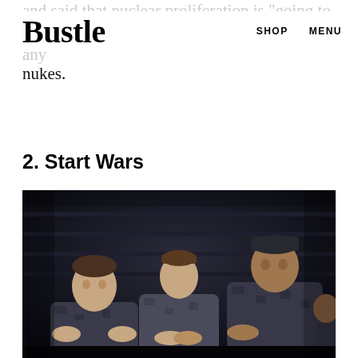Bustle  SHOP  MENU
and said that nuclear proliferation is "going to happen anyway." So, yeah, let's not give him any nukes.
2. Start Wars
[Figure (photo): Three military personnel in camouflage uniforms sitting in a dimly lit setting, looking somber or contemplative.]